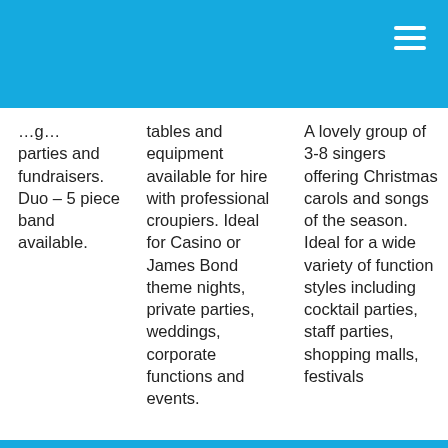parties and fundraisers. Duo – 5 piece band available.
tables and equipment available for hire with professional croupiers. Ideal for Casino or James Bond theme nights, private parties, weddings, corporate functions and events.
A lovely group of 3-8 singers offering Christmas carols and songs of the season. Ideal for a wide variety of function styles including cocktail parties, staff parties, shopping malls, festivals